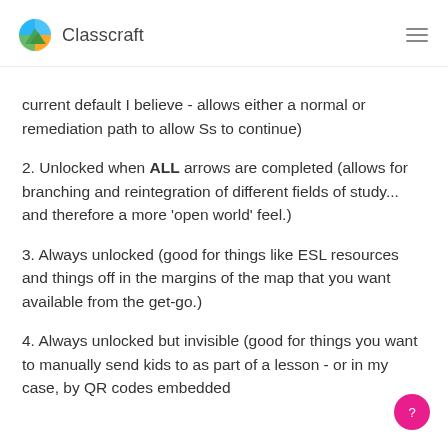Classcraft
current default I believe - allows either a normal or remediation path to allow Ss to continue)
2. Unlocked when ALL arrows are completed (allows for branching and reintegration of different fields of study... and therefore a more 'open world' feel.)
3. Always unlocked (good for things like ESL resources and things off in the margins of the map that you want available from the get-go.)
4. Always unlocked but invisible (good for things you want to manually send kids to as part of a lesson - or in my case, by QR codes embedded